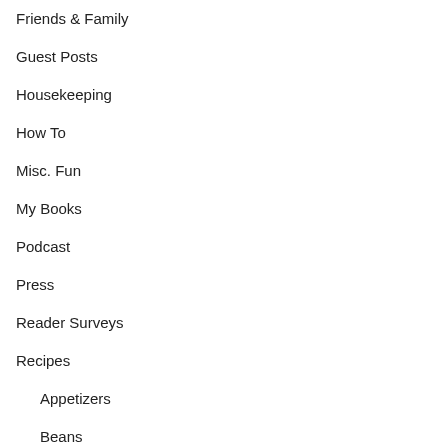Friends & Family
Guest Posts
Housekeeping
How To
Misc. Fun
My Books
Podcast
Press
Reader Surveys
Recipes
Appetizers
Beans